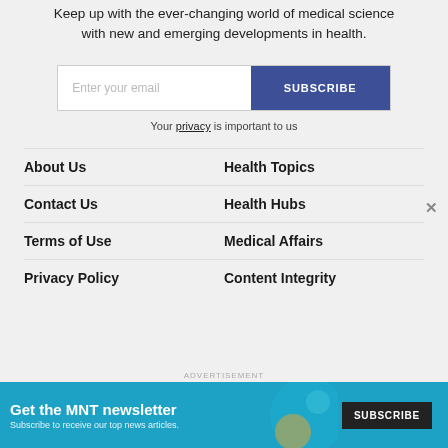Keep up with the ever-changing world of medical science with new and emerging developments in health.
Enter your email | SUBSCRIBE
Your privacy is important to us
About Us
Health Topics
Contact Us
Health Hubs
Terms of Use
Medical Affairs
Privacy Policy
Content Integrity
ADVERTISEMENT
[Figure (screenshot): MNT newsletter ad banner: 'Get the MNT newsletter — Subscribe to receive our top news articles.' with a SUBSCRIBE button on dark background.]